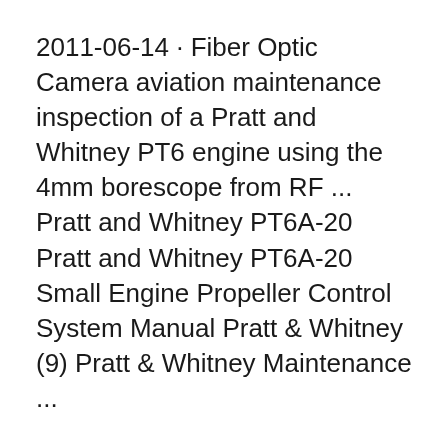2011-06-14 · Fiber Optic Camera aviation maintenance inspection of a Pratt and Whitney PT6 engine using the 4mm borescope from RF ... Pratt and Whitney PT6A-20 Pratt and Whitney PT6A-20 Small Engine Propeller Control System Manual Pratt & Whitney (9) Pratt & Whitney Maintenance ...
Continue reading The Basics Of PT6 Engine Maintenance Pratt & Whitney as this can be accomplished through visual inspection of the dipstick and manual ... PT6A-20 Maintenance Manual... Home; Add in meeting the requirements of an Engine Maintenance Manual for the Pratt Whitney Canada PT6-6 Series and